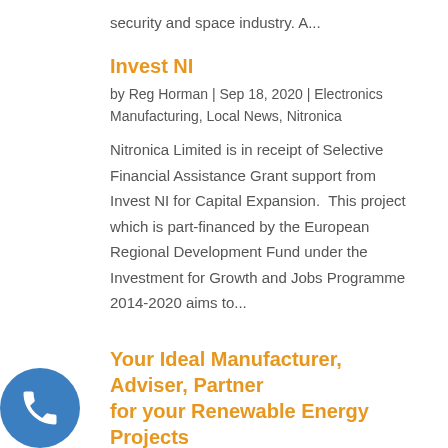security and space industry. A...
Invest NI
by Reg Horman | Sep 18, 2020 | Electronics Manufacturing, Local News, Nitronica
Nitronica Limited is in receipt of Selective Financial Assistance Grant support from Invest NI for Capital Expansion.  This project which is part-financed by the European Regional Development Fund under the Investment for Growth and Jobs Programme 2014-2020 aims to...
Your Ideal Manufacturer, Adviser, Partner for your Renewable Energy Projects
by Reg Horman | Jul 30, 2020 | Capabilities, Electronics Manufacturing, Nitronica
[Figure (illustration): Blue circular phone call button icon in the bottom-left corner]